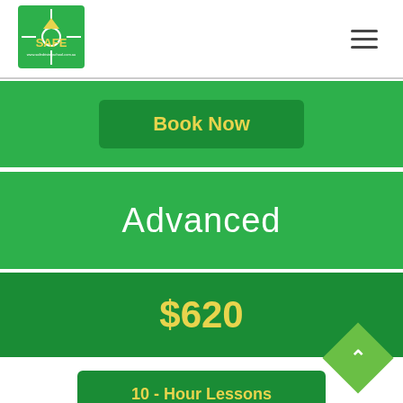SAFE logo and navigation menu
Book Now
Advanced
$620
10 - Hour Lessons
Must pay $320 on the first lesson, $300 on fifth lesson